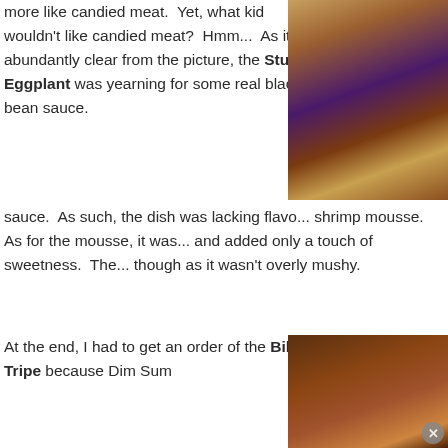more like candied meat.  Yet, what kid wouldn't like candied meat?  Hmm...  As it is abundantly clear from the picture, the Stuffed Eggplant was yearning for some real black bean sauce.  As such, the dish was lacking flavo... shrimp mousse.  As for the mousse, it was... and added only a touch of sweetness.  The... though as it wasn't overly mushy.
[Figure (photo): Photo of stuffed eggplant dish on a white plate, showing purple eggplant pieces with filling, placed on a wooden table surface.]
At the end, I had to get an order of the Bible Tripe because Dim Sum
[Figure (photo): Photo of Bible Tripe dish in a dark bowl or plate, partially visible.]